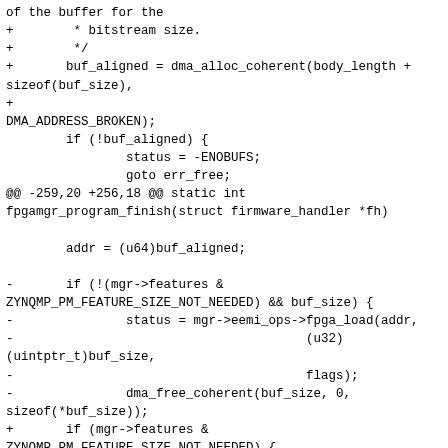of the buffer for the
+        * bitstream size.
+        */
+       buf_aligned = dma_alloc_coherent(body_length +
sizeof(buf_size),
+
DMA_ADDRESS_BROKEN);
        if (!buf_aligned) {
                status = -ENOBUFS;
                goto err_free;
@@ -259,20 +256,18 @@ static int fpgamgr_program_finish(struct firmware_handler *fh)

        addr = (u64)buf_aligned;

-       if (!(mgr->features &
ZYNQMP_PM_FEATURE_SIZE_NOT_NEEDED) && buf_size) {
-               status = mgr->eemi_ops->fpga_load(addr,
-                                       (u32)
(uintptr_t)buf_size,
-                                       flags);
-               dma_free_coherent(buf_size, 0,
sizeof(*buf_size));
+       if (mgr->features &
ZYNQMP_PM_FEATURE_SIZE_NOT_NEEDED) {
+               buf_size = body_length;
        } else {
-               status = mgr->eemi_ops->fpga_load(addr,
(u32)(body_length),
-
-flags);